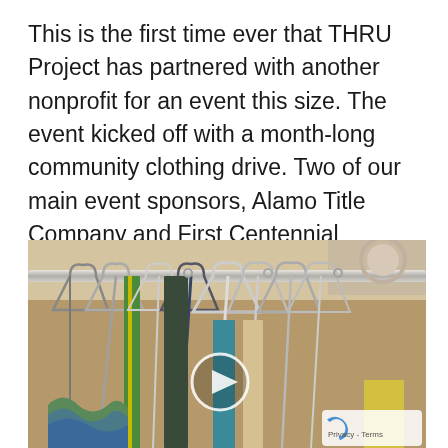This is the first time ever that THRU Project has partnered with another nonprofit for an event this size. The event kicked off with a month-long community clothing drive. Two of our main event sponsors, Alamo Title Company and First Centennial Mortgage, served as drop off sites for clothing donations all across the city.
[Figure (photo): A closet rod with multiple metal and plastic clothes hangers holding various garments including colorful items. A video play button overlay is visible in the center. A Google privacy/terms badge appears in the bottom right corner.]